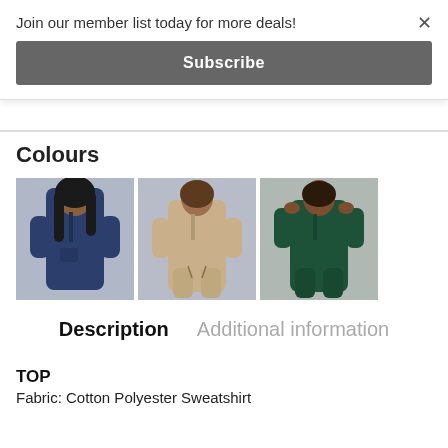Join our member list today for more deals!
Subscribe
×
Colours
[Figure (photo): Person wearing a navy blue zip-up sweatshirt and matching navy joggers, with long curly dark hair, against a light grey background.]
[Figure (photo): Person wearing a beige/cream zip-up sweatshirt and matching beige joggers, standing against a light grey background.]
[Figure (photo): Person wearing a dark green zip-up sweatshirt and matching dark green joggers, against a light grey background.]
Description
Additional information
TOP
Fabric: Cotton Polyester Sweatshirt